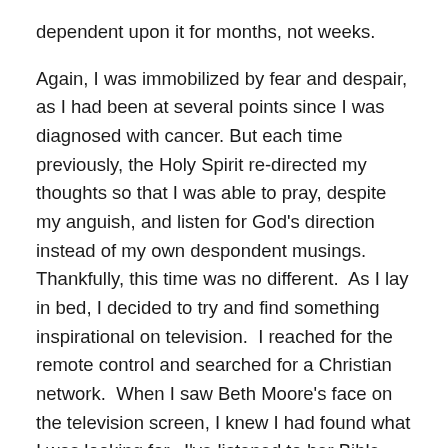dependent upon it for months, not weeks.
Again, I was immobilized by fear and despair, as I had been at several points since I was diagnosed with cancer. But each time previously, the Holy Spirit re-directed my thoughts so that I was able to pray, despite my anguish, and listen for God’s direction instead of my own despondent musings. Thankfully, this time was no different.  As I lay in bed, I decided to try and find something inspirational on television.  I reached for the remote control and searched for a Christian network.  When I saw Beth Moore’s face on the television screen, I knew I had found what I was looking for.  I’ve listened to her Bible studies on television for a number of years and she always has a message that both challenges me and helps to strengthen my faith.